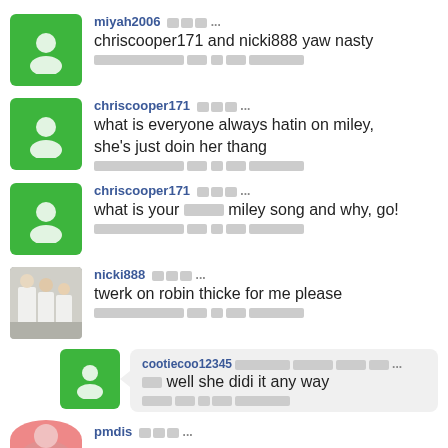miyah2006 [icons] ... chriscooper171 and nicki888 yaw nasty [redacted metadata]
chriscooper171 [icons] ... what is everyone always hatin on miley, she's just doin her thang [redacted metadata]
chriscooper171 [icons] ... what is your [redacted] miley song and why, go! [redacted metadata]
nicki888 [icons] ... twerk on robin thicke for me please [redacted metadata]
cootiecoo12345 [redacted] ... [redacted] well she didi it any way [redacted metadata]
pmdis [icons] ...